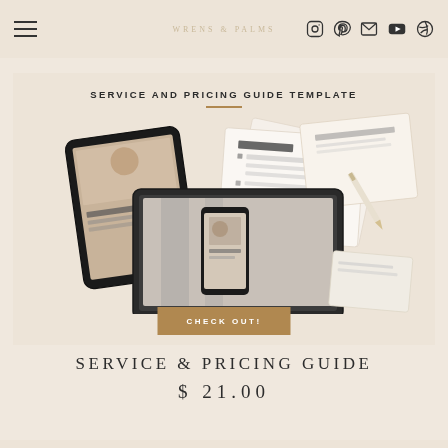Navigation bar with hamburger menu and social icons (Instagram, Pinterest, Email, YouTube, Dribbble)
WRENS & PALMS
[Figure (screenshot): Product mockup showing a service and pricing guide template displayed on a laptop, tablet, and phone on a beige background with text 'SERVICE AND PRICING GUIDE TEMPLATE' and a gold 'CHECK OUT!' button]
SERVICE & PRICING GUIDE
$ 21.00